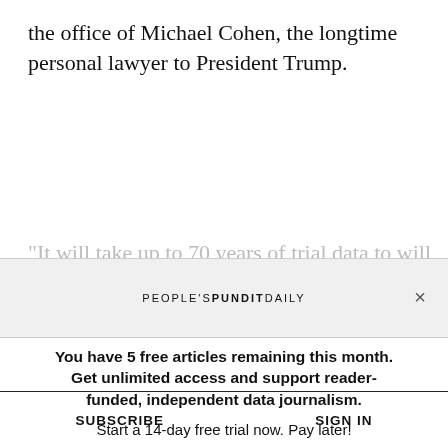the office of Michael Cohen, the longtime personal lawyer to President Trump.
"It will take up to 70 years of trial data to will
[Figure (other): People's Pundit Daily modal overlay bar with logo and close (×) button]
You have 5 free articles remaining this month. Get unlimited access and support reader-funded, independent data journalism.

Start a 14-day free trial now. Pay later!
[Figure (other): START TRIAL button with rectangular border]
SUBSCRIBE
SIGN IN